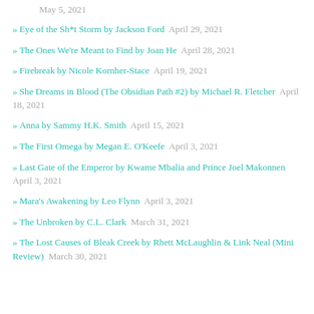May 5, 2021
Eye of the Sh*t Storm by Jackson Ford  April 29, 2021
The Ones We're Meant to Find by Joan He  April 28, 2021
Firebreak by Nicole Kornher-Stace  April 19, 2021
She Dreams in Blood (The Obsidian Path #2) by Michael R. Fletcher  April 18, 2021
Anna by Sammy H.K. Smith  April 15, 2021
The First Omega by Megan E. O'Keefe  April 3, 2021
Last Gate of the Emperor by Kwame Mbalia and Prince Joel Makonnen  April 3, 2021
Mara's Awakening by Leo Flynn  April 3, 2021
The Unbroken by C.L. Clark  March 31, 2021
The Lost Causes of Bleak Creek by Rhett McLaughlin & Link Neal (Mini Review)  March 30, 2021